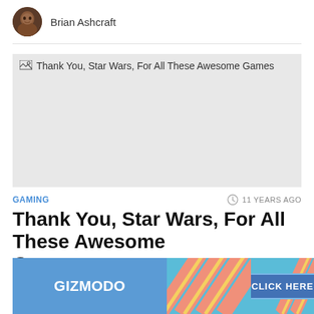Brian Ashcraft
[Figure (screenshot): Article thumbnail image placeholder (broken image) with title text 'Thank You, Star Wars, For All These Awesome Games' on a light grey background]
GAMING
11 YEARS AGO
Thank You, Star Wars, For All These Awesome Games
[Figure (infographic): Advertisement banner: GIZMODO logo on blue background with diagonal stripe pattern and CLICK HERE button]